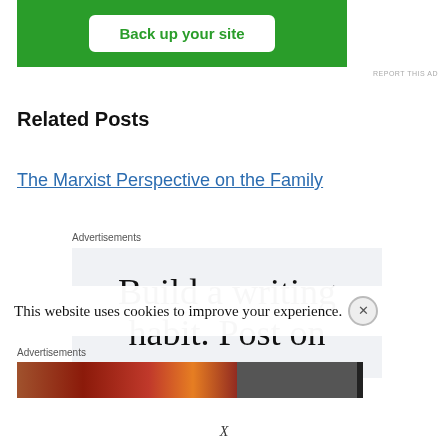[Figure (screenshot): Green advertisement banner with white button labeled 'Back up your site']
REPORT THIS AD
Related Posts
The Marxist Perspective on the Family
Advertisements
[Figure (screenshot): Advertisement with text 'Build a writing habit. Post on']
This website uses cookies to improve your experience.
Advertisements
[Figure (photo): Advertisement image strip showing food photo and dark button]
X